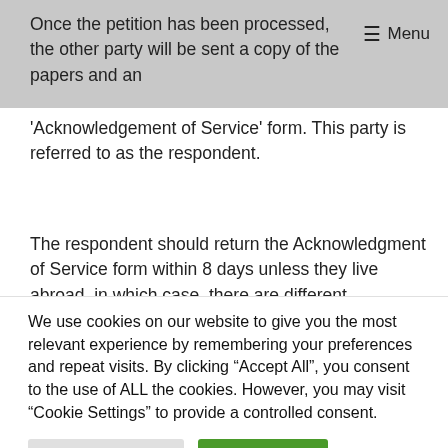Once the petition has been processed, the other party will be sent a copy of the papers and an ≡ Menu
'Acknowledgement of Service' form. This party is referred to as the respondent.
The respondent should return the Acknowledgment of Service form within 8 days unless they live abroad, in which case, there are different timescales for returning this document. The respondent can agree to
We use cookies on our website to give you the most relevant experience by remembering your preferences and repeat visits. By clicking "Accept All", you consent to the use of ALL the cookies. However, you may visit "Cookie Settings" to provide a controlled consent.
Cookie Settings | Accept All